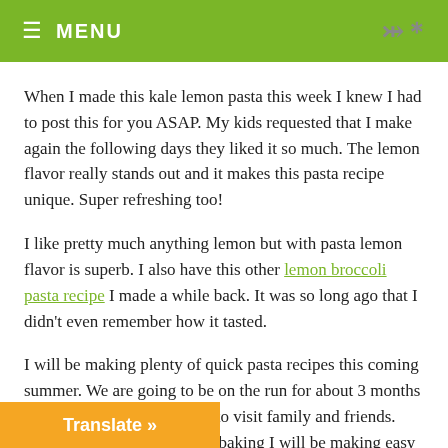≡ MENU
When I made this kale lemon pasta this week I knew I had to post this for you ASAP. My kids requested that I make again the following days they liked it so much. The lemon flavor really stands out and it makes this pasta recipe unique. Super refreshing too!
I like pretty much anything lemon but with pasta lemon flavor is superb. I also have this other lemon broccoli pasta recipe I made a while back. It was so long ago that I didn't even remember how it tasted.
I will be making plenty of quick pasta recipes this coming summer. We are going to be on the run for about 3 months since we are going to Spain to visit family and friends. While I will be cooking and baking I will be making easy variations on almost everything. I won't have none of my cooking kitchen utensils so it is going to be a challenge to say the least. I don't even know how the pictures will look, but heck, who cares I will be on vacation for 3 months.
Anyhow, I leave you with this sensational kale lemon pasta that I know you are going to like. This was my second time making this recipe and I f… peppers. Just make sure you add them, they